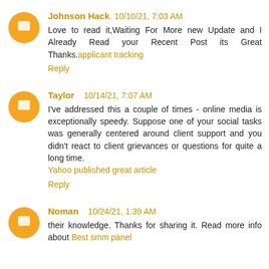Johnson Hack 10/10/21, 7:03 AM
Love to read it,Waiting For More new Update and I Already Read your Recent Post its Great Thanks. applicant tracking
Reply
Taylor 10/14/21, 7:07 AM
I've addressed this a couple of times - online media is exceptionally speedy. Suppose one of your social tasks was generally centered around client support and you didn't react to client grievances or questions for quite a long time. Yahoo published great article
Reply
Noman 10/24/21, 1:39 AM
their knowledge. Thanks for sharing it. Read more info about Best smm panel